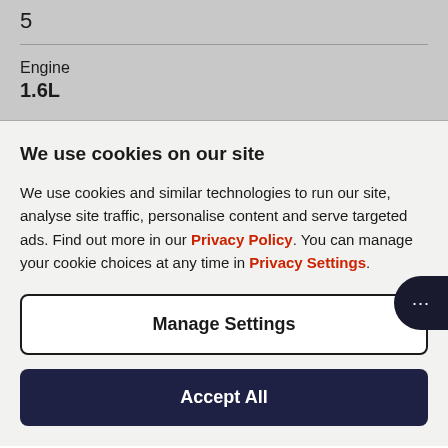5
Engine
1.6L
We use cookies on our site
We use cookies and similar technologies to run our site, analyse site traffic, personalise content and serve targeted ads. Find out more in our Privacy Policy. You can manage your cookie choices at any time in Privacy Settings.
Manage Settings
Accept All